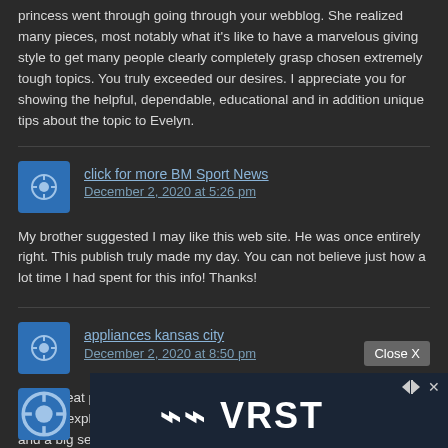princess went through going through your webblog. She realized many pieces, most notably what it's like to have a marvelous giving style to get many people clearly completely grasp chosen extremely tough topics. You truly exceeded our desires. I appreciate you for showing the helpful, dependable, educational and in addition unique tips about the topic to Evelyn.
click for more BM Sport News
December 2, 2020 at 5:26 pm
My brother suggested I may like this web site. He was once entirely right. This publish truly made my day. You can not believe just how a lot time I had spent for this info! Thanks!
appliances kansas city
December 2, 2020 at 8:50 pm
Hello, Neat post. There's a problem together with your web site in internet explore could check this… IE still is the marketplace leader and a big section of other people will leave out your magnificent writing due to this problem.
Close X
[Figure (logo): VW VRST advertisement banner with logo and navigation arrows]